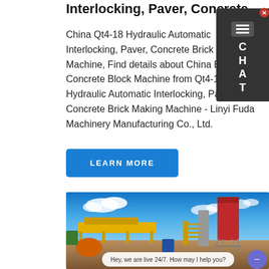Interlocking, Paver, Concrete
China Qt4-18 Hydraulic Automatic Interlocking, Paver, Concrete Brick Making Machine, Find details about China Brick, Concrete Block Machine from Qt4-18 Hydraulic Automatic Interlocking, Paver, Concrete Brick Making Machine - Linyi Fuda Machinery Manufacturing Co., Ltd.
LEARN MORE
[Figure (photo): Industrial concrete/cement mixing plant with yellow conveyor, red cylindrical silos, and gray metal framework under blue sky with white clouds. Chat widget overlay at bottom: 'Hey, we are live 24/7. How may I help you?']
[Figure (screenshot): Chat widget on right side showing hamburger icon and letters C H A T on dark background]